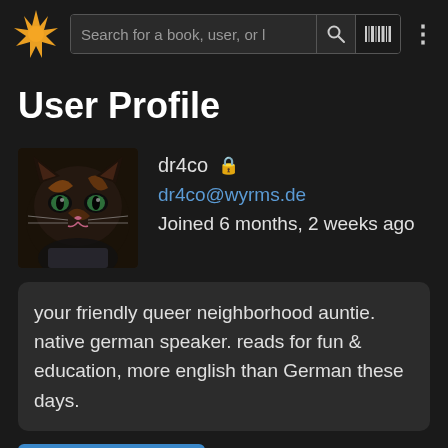Search for a book, user, or l
User Profile
[Figure (photo): Profile avatar photo of a tortoiseshell cat with green eyes, dark fur with orange markings, close-up face shot]
dr4co 🔒
dr4co@wyrms.de
Joined 6 months, 2 weeks ago
your friendly queer neighborhood auntie. native german speaker. reads for fun & education, more english than German these days.
Follow on Fediverse
This link opens in a pop-up window.